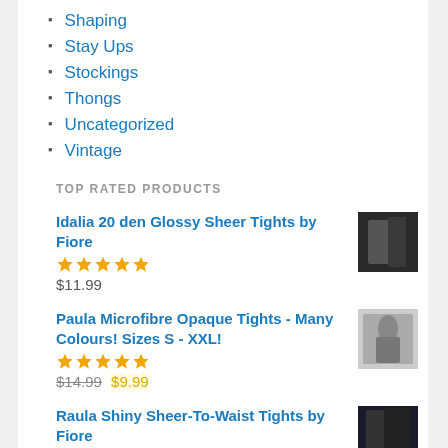Shaping
Stay Ups
Stockings
Thongs
Uncategorized
Vintage
TOP RATED PRODUCTS
Idalia 20 den Glossy Sheer Tights by Fiore
★★★★★
$11.99
Paula Microfibre Opaque Tights - Many Colours! Sizes S - XXL!
★★★★★
$14.99 $9.99
Raula Shiny Sheer-To-Waist Tights by Fiore
★★★★★
$14.99
Conte Prestige 12 Den Shiny Tights (Ultra Sheer)
$9.99